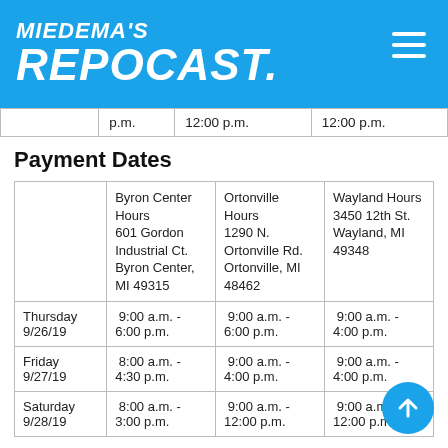[Figure (logo): Miedema's Repocast logo in white italic bold text on blue background with hamburger menu icon]
|  | p.m. | 12:00 p.m. | 12:00 p.m. |
| --- | --- | --- | --- |
Payment Dates
|  | Byron Center Hours 601 Gordon Industrial Ct. Byron Center, MI 49315 | Ortonville Hours 1290 N. Ortonville Rd. Ortonville, MI 48462 | Wayland Hours 3450 12th St. Wayland, MI 49348 |
| --- | --- | --- | --- |
| Thursday 9/26/19 | 9:00 a.m. - 6:00 p.m. | 9:00 a.m. - 6:00 p.m. | 9:00 a.m. - 4:00 p.m. |
| Friday 9/27/19 | 8:00 a.m. - 4:30 p.m. | 9:00 a.m. - 4:00 p.m. | 9:00 a.m. - 4:00 p.m. |
| Saturday 9/28/19 | 8:00 a.m. - 3:00 p.m. | 9:00 a.m. - 12:00 p.m. | 9:00 a.m. - 12:00 p.m. |